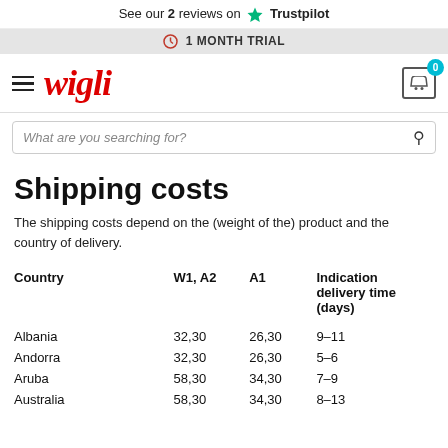See our 2 reviews on ★ Trustpilot
⏱ 1 MONTH TRIAL
wigli — navigation and search bar
Shipping costs
The shipping costs depend on the (weight of the) product and the country of delivery.
| Country | W1, A2 | A1 | Indication delivery time (days) |
| --- | --- | --- | --- |
| Albania | 32,30 | 26,30 | 9–11 |
| Andorra | 32,30 | 26,30 | 5–6 |
| Aruba | 58,30 | 34,30 | 7–9 |
| Australia | 58,30 | 34,30 | 8–13 |